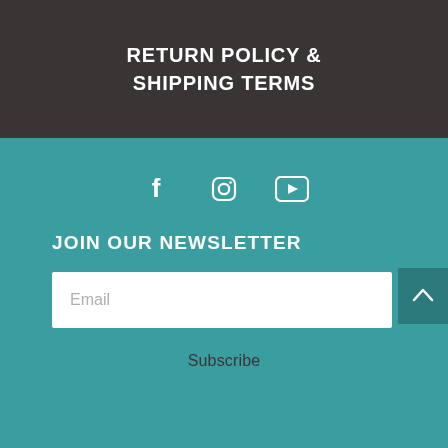RETURN POLICY & SHIPPING TERMS
[Figure (illustration): Social media icons: Facebook (f), Instagram (camera), YouTube (play button rectangle)]
JOIN OUR NEWSLETTER
Email
Subscribe